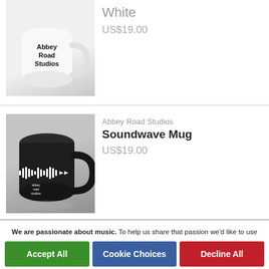[Figure (photo): White Abbey Road Studios mug with black text logo on white/grey gradient background]
White
US$19.00
[Figure (photo): Black Soundwave mug with white soundwave graphic design on grey gradient background]
Abbey Road Studios
Soundwave Mug
US$19.00
We are passionate about music. To help us share that passion we'd like to use cookies and similar technologies to personalize your experiences on our sites and to advertise on other sites. By clicking Accept All, you agree to our use of analytics, marketing, and advertising cookies. You can revoke your consent at any time. For more information and additional choices click on Cookie Choices below. Privacy Policy.